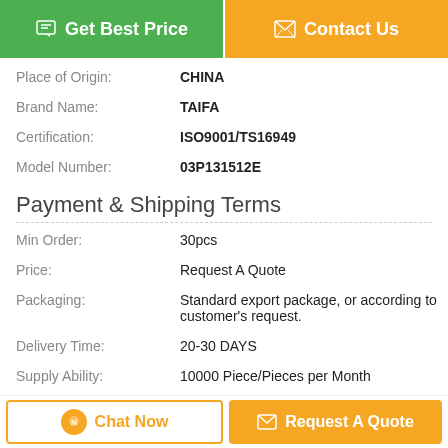[Figure (other): Two call-to-action buttons: 'Get Best Price' (green) and 'Contact Us' (orange)]
| Place of Origin: | CHINA |
| Brand Name: | TAIFA |
| Certification: | ISO9001/TS16949 |
| Model Number: | 03P131512E |
Payment & Shipping Terms
| Min Order: | 30pcs |
| Price: | Request A Quote |
| Packaging: | Standard export package, or according to customer's request. |
| Delivery Time: | 20-30 DAYS |
| Supply Ability: | 10000 Piece/Pieces per Month |
Description
[Figure (other): Bottom action bar with 'Chat Now' and 'Request A Quote' buttons]